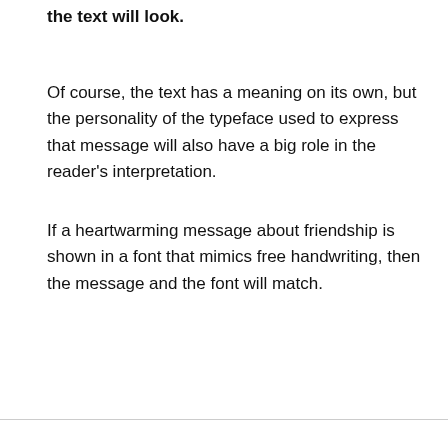the text will look.
Of course, the text has a meaning on its own, but the personality of the typeface used to express that message will also have a big role in the reader's interpretation.
If a heartwarming message about friendship is shown in a font that mimics free handwriting, then the message and the font will match.